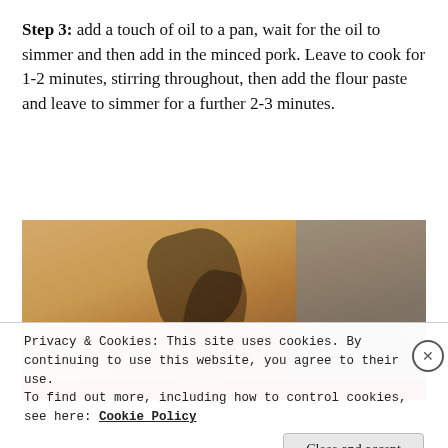Step 3: add a touch of oil to a pan, wait for the oil to simmer and then add in the minced pork. Leave to cook for 1-2 minutes, stirring throughout, then add the flour paste and leave to simmer for a further 2-3 minutes.
[Figure (photo): A photo showing what appears to be meat cooking in a pan, with a warm sandy/brown background. The image is partially obscured by a cookie consent banner overlay.]
Privacy & Cookies: This site uses cookies. By continuing to use this website, you agree to their use.
To find out more, including how to control cookies, see here: Cookie Policy
Close and accept